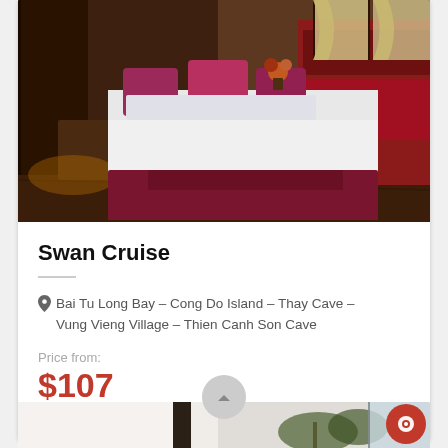[Figure (photo): Hotel cruise ship bedroom interior with a large white bed, dark red/maroon accent pillows and bed runner, dark wood paneling walls with red cushioned banquette seating, hardwood floors, and windows with light curtains in the background.]
Swan Cruise
Bai Tu Long Bay – Cong Do Island – Thay Cave – Vung Vieng Village – Thien Canh Son Cave
Price from:
$107
Price per person, based on 2 people
[Figure (photo): Partial view of another hotel/cruise listing below, showing a bright interior space with plants.]